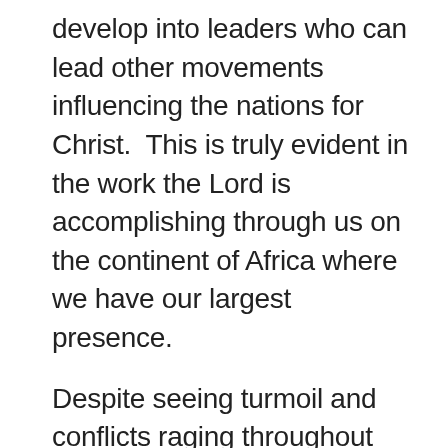develop into leaders who can lead other movements influencing the nations for Christ.  This is truly evident in the work the Lord is accomplishing through us on the continent of Africa where we have our largest presence.
Despite seeing turmoil and conflicts raging throughout our world, and this region in particular, God ordained the protection of the people from the earliest days through His institution: the military, police and security services.  History tells us that as a nation's military goes, so goes that nation, whether for good or for evil.  It is crucial then that the military be undergirded by the power of Christ.  Such a military will not